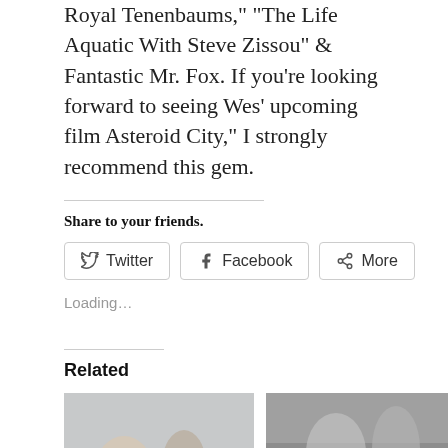Royal Tenenbaums,” “The Life Aquatic With Steve Zissou” & Fantastic Mr. Fox. If you’re looking forward to seeing Wes’ upcoming film Asteroid City,” I strongly recommend this gem.
Share to your friends.
Twitter  Facebook  More
Loading…
Related
[Figure (photo): Two people in a field, color photo]
[Figure (photo): Two people, black and white photo]